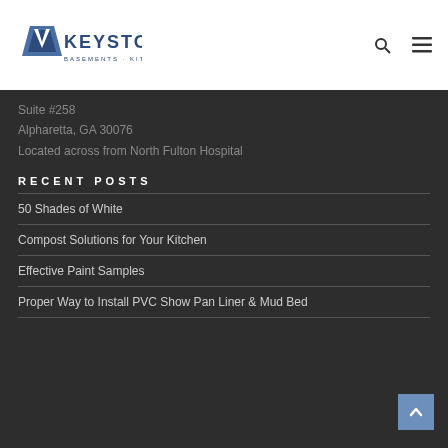[Figure (logo): Keystone Basements Kitchens Baths logo with blue trapezoidal icon and text]
Suite #258
Alpharetta, GA 30076
Located across from North Fulton Hospital
RECENT POSTS
50 Shades of White
Compost Solutions for Your Kitchen
Effective Paint Samples
Proper Way to Install PVC Show Pan Liner & Mud Bed